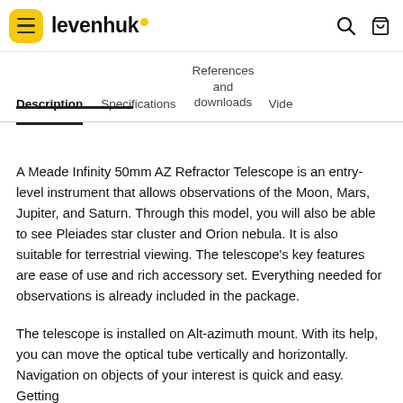levenhuk [logo with hamburger menu, search icon, cart icon]
Description | Specifications | References and downloads | Vide...
A Meade Infinity 50mm AZ Refractor Telescope is an entry-level instrument that allows observations of the Moon, Mars, Jupiter, and Saturn. Through this model, you will also be able to see Pleiades star cluster and Orion nebula. It is also suitable for terrestrial viewing. The telescope's key features are ease of use and rich accessory set. Everything needed for observations is already included in the package.
The telescope is installed on Alt-azimuth mount. With its help, you can move the optical tube vertically and horizontally. Navigation on objects of your interest is quick and easy. Getting